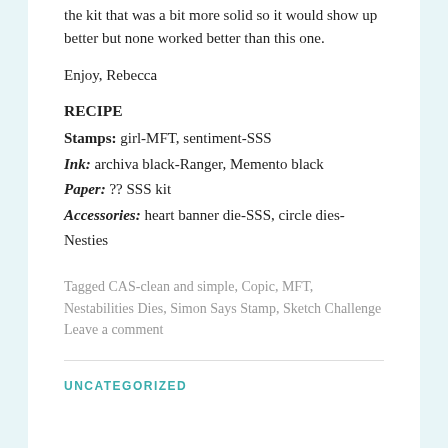the kit that was a bit more solid so it would show up better but none worked better than this one.
Enjoy, Rebecca
RECIPE
Stamps: girl-MFT, sentiment-SSS
Ink: archiva black-Ranger, Memento black
Paper: ?? SSS kit
Accessories: heart banner die-SSS, circle dies-Nesties
Tagged CAS-clean and simple, Copic, MFT, Nestabilities Dies, Simon Says Stamp, Sketch Challenge
Leave a comment
UNCATEGORIZED